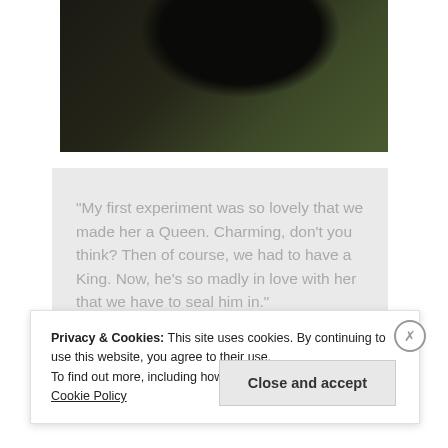[Figure (photo): Close-up photo of a dark/black snake on green grass and dried vegetation]
“My first experiment was so lovely that we made her a Queen. Charming, don’t you think? Then of course, we had to have a King. Now, he’s so madly in love with her that we have to seal him in.”
Privacy & Cookies: This site uses cookies. By continuing to use this website, you agree to their use.
To find out more, including how to control cookies, see here: Cookie Policy
Close and accept